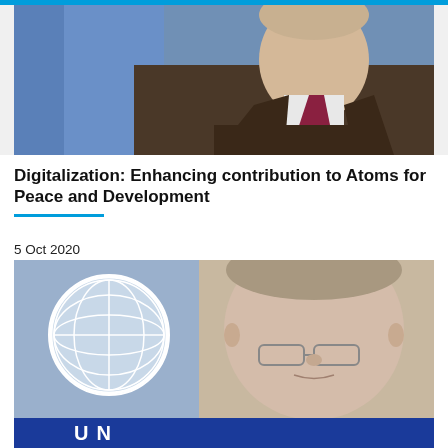[Figure (photo): Photo of a man in a dark suit with a burgundy tie, with blue background (possibly flags), cropped at shoulders]
Digitalization: Enhancing contribution to Atoms for Peace and Development
5 Oct 2020
Written by Rafael Mariano Grossi, Director General of the International Atomic Energy Agency (IAEA)
[Figure (photo): Portrait photo of Rafael Mariano Grossi wearing glasses, with UN logo/backdrop visible in background, UN letters visible at bottom]